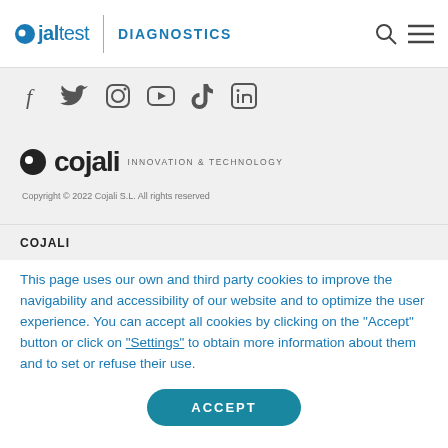jaltest DIAGNOSTICS
[Figure (logo): Social media icons: Facebook, Twitter, Instagram, YouTube, TikTok, LinkedIn]
[Figure (logo): Cojali logo with dot and text INNOVATION & TECHNOLOGY]
Copyright © 2022 Cojali S.L. All rights reserved
COJALI
This page uses our own and third party cookies to improve the navigability and accessibility of our website and to optimize the user experience. You can accept all cookies by clicking on the "Accept" button or click on "Settings" to obtain more information about them and to set or refuse their use.